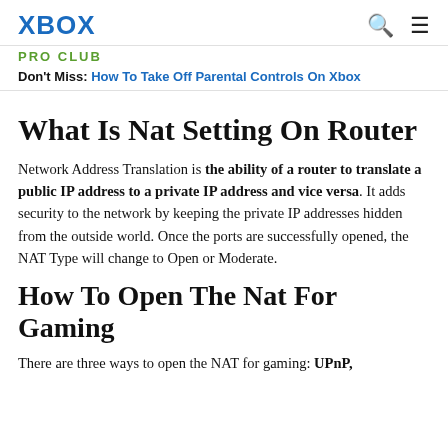XBOX
PRO CLUB
Don't Miss: How To Take Off Parental Controls On Xbox
What Is Nat Setting On Router
Network Address Translation is the ability of a router to translate a public IP address to a private IP address and vice versa. It adds security to the network by keeping the private IP addresses hidden from the outside world. Once the ports are successfully opened, the NAT Type will change to Open or Moderate.
How To Open The Nat For Gaming
There are three ways to open the NAT for gaming: UPnP,